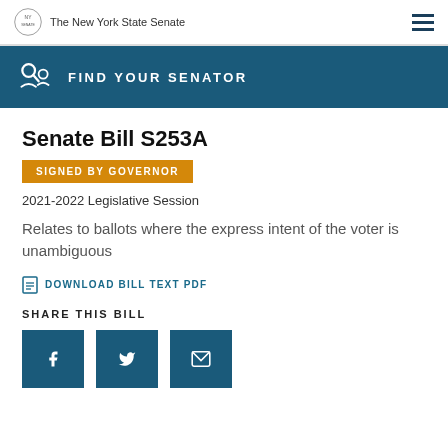The New York State Senate
[Figure (infographic): Blue banner with person/senator search icon and text FIND YOUR SENATOR]
Senate Bill S253A
SIGNED BY GOVERNOR
2021-2022 Legislative Session
Relates to ballots where the express intent of the voter is unambiguous
DOWNLOAD BILL TEXT PDF
SHARE THIS BILL
[Figure (infographic): Three share buttons: Facebook, Twitter, Email]